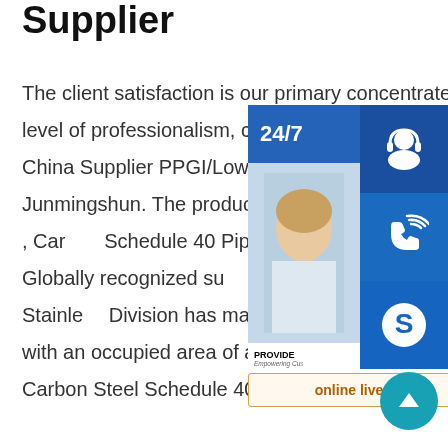Supplier
The client satisfaction is our primary concentrate on. We uphold a consistent level of professionalism, credibility and service for Special Design Steel Pipe - China Supplier PPGI/Lowest Sheet Price/Galvanized Steel Sheet Price Junmingshun. The product will supply to world, such as:Afghanistan , Zambia , Carbon Schedule 40 Pipe |Sch 40 Pipe |Carbon Steel Citizen Metals is a Globally recognized supplier of Carbon Steel Schedule 40 Pipe .our Carbon Steel, Stainless Steel Division has manufacturing facilities in Ahemdabad, Gujarat, India with an occupied area of approximately 80000 square feet.We manufacture Carbon Steel Schedule 40 Pipe & Discuss Carbon Steel Stainless
[Figure (infographic): Customer service widget panel showing 24/7 label, headset icon, phone icon, Skype icon, a customer service representative photo, PROVIDE / Empowering Customers text, and an online live button. Also a teal scroll-up arrow circle button.]